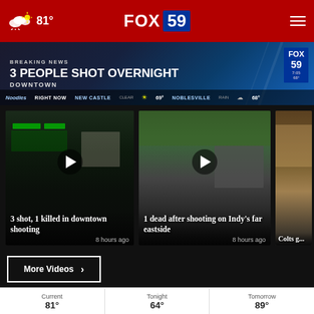☁ 81°  FOX 59
[Figure (screenshot): Breaking news banner: 3 PEOPLE SHOT OVERNIGHT DOWNTOWN with weather ticker showing NEW CASTLE CLEAR 69° and NOBLESVILLE RAIN 68°]
[Figure (screenshot): Video thumbnail: 3 shot, 1 killed in downtown shooting - 8 hours ago]
[Figure (screenshot): Video thumbnail: 1 dead after shooting on Indy's far eastside - 8 hours ago]
[Figure (screenshot): Video thumbnail: Colts game (partially visible)]
More Videos ›
Current  Tonight  Tomorrow  81°  64°  89°